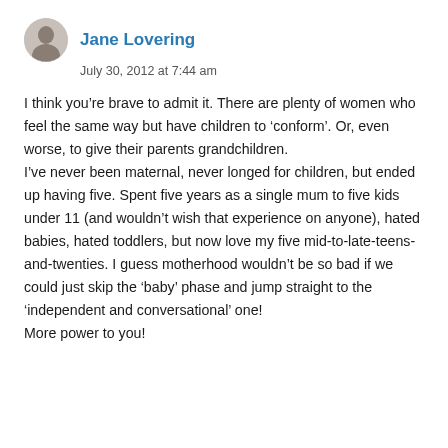[Figure (photo): Small circular avatar photo of a person, grayscale/muted tones]
Jane Lovering
July 30, 2012 at 7:44 am
I think you’re brave to admit it. There are plenty of women who feel the same way but have children to ‘conform’. Or, even worse, to give their parents grandchildren.
I’ve never been maternal, never longed for children, but ended up having five. Spent five years as a single mum to five kids under 11 (and wouldn’t wish that experience on anyone), hated babies, hated toddlers, but now love my five mid-to-late-teens-and-twenties. I guess motherhood wouldn’t be so bad if we could just skip the ‘baby’ phase and jump straight to the ‘independent and conversational’ one!
More power to you!